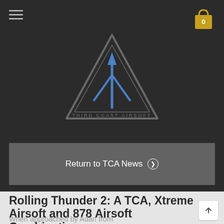[Figure (logo): Third Coast Airsoft logo: triangle outline with arrow up and letters TCA inside, text THIRD COAST AIRSOFT below, dark background]
Return to TCA News ❯
Rolling Thunder 2: A TCA, Xtreme Airsoft and 878 Airsoft Combination
When approached by Adan from